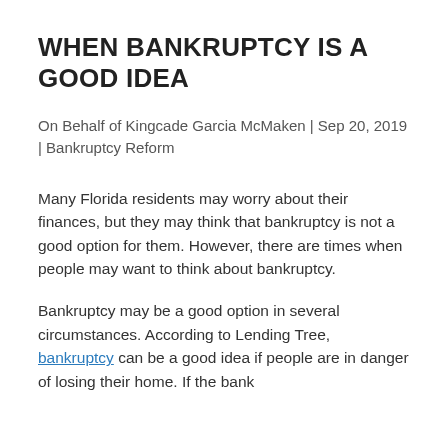WHEN BANKRUPTCY IS A GOOD IDEA
On Behalf of Kingcade Garcia McMaken | Sep 20, 2019 | Bankruptcy Reform
Many Florida residents may worry about their finances, but they may think that bankruptcy is not a good option for them. However, there are times when people may want to think about bankruptcy.
Bankruptcy may be a good option in several circumstances. According to Lending Tree, bankruptcy can be a good idea if people are in danger of losing their home. If the bank